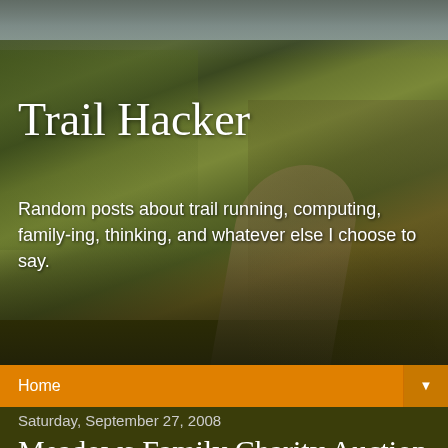[Figure (photo): Photograph of a trail path through grassy hillside with fence posts, used as blog header background image]
Trail Hacker
Random posts about trail running, computing, family-ing, thinking, and whatever else I choose to say.
Home ▼
Saturday, September 27, 2008
Meadows Family Charity Auction
Event raises $20,000 for local family | newarkadvocate.com | The Newark Advocate
Talk about a heart-warming day in Newark, Ohio. The entire community came together today and raised $20,000 at a 100% volunteer donation auction for a 27 year old widowed mother of 3 girls. Jennifer and I took the girls and spent most of the day there bidding on stuff. We had a really good time